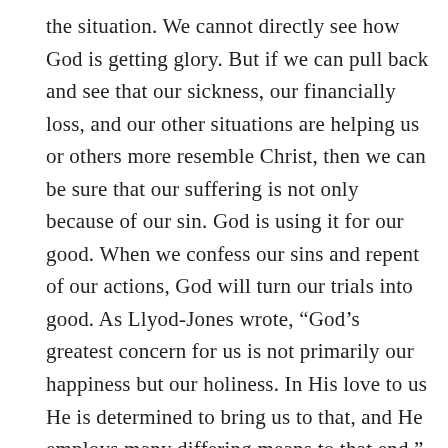the situation. We cannot directly see how God is getting glory. But if we can pull back and see that our sickness, our financially loss, and our other situations are helping us or others more resemble Christ, then we can be sure that our suffering is not only because of our sin. God is using it for our good. When we confess our sins and repent of our actions, God will turn our trials into good. As Llyod-Jones wrote, “God’s greatest concern for us is not primarily our happiness but our holiness. In His love to us He is determined to bring us to that, and He employs many differing means to that end.” Suffering is not always a result of our sin.